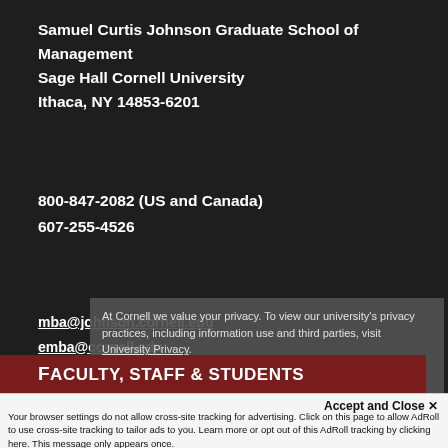Samuel Curtis Johnson Graduate School of Management
Sage Hall Cornell University
Ithaca, NY 14853-6201
800-847-2082 (US and Canada)
607-255-4526
mba@johnson.cornell.edu
emba@cornell.edu
gradadmissions@business.cornell.edu
FACULTY, STAFF & STUDENTS
At Cornell we value your privacy. To view our university's privacy practices, including information use and third parties, visit University Privacy.
Thanks for letting me know
Accept and Close ✕
Your browser settings do not allow cross-site tracking for advertising. Click on this page to allow AdRoll to use cross-site tracking to tailor ads to you. Learn more or opt out of this AdRoll tracking by clicking here. This message only appears once.